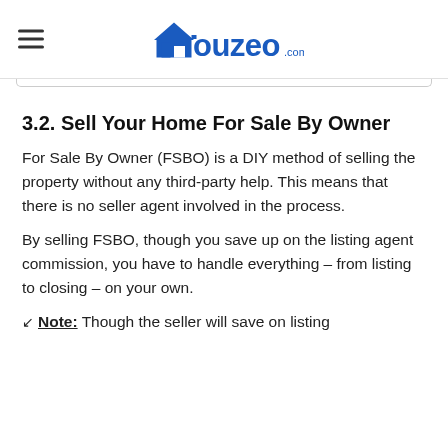Houzeo.com
3.2. Sell Your Home For Sale By Owner
For Sale By Owner (FSBO) is a DIY method of selling the property without any third-party help. This means that there is no seller agent involved in the process.
By selling FSBO, though you save up on the listing agent commission, you have to handle everything – from listing to closing – on your own.
Note: Though the seller will save on listing